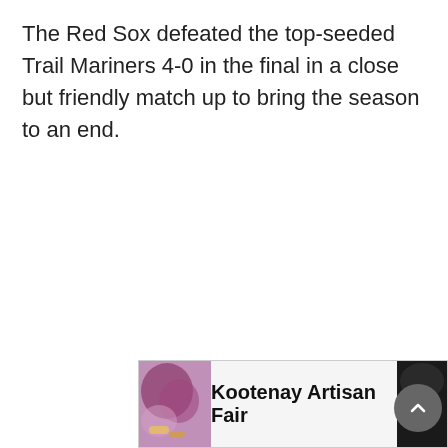The Red Sox defeated the top-seeded Trail Mariners 4-0 in the final in a close but friendly match up to bring the season to an end.
[Figure (other): Advertisement banner for Kootenay Artisan Fair with decorative food/vegetable imagery on the sides and bold text in the center.]